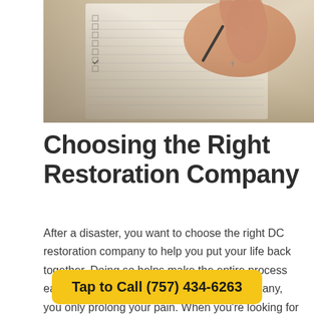[Figure (photo): Close-up photo of a hand holding a pen, marking checkboxes on a lined checklist paper]
Choosing the Right Restoration Company
After a disaster, you want to choose the right DC restoration company to help you put your life back together. Doing so helps make the entire process easier. However, if you pick the wrong company, you only prolong your pain. When you're looking for a DC restoration company, you need to consider what they have to offer.
Tap to Call (757) 434-6263